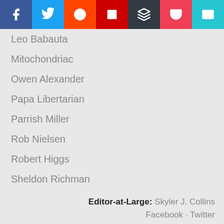[Figure (other): Social share buttons bar: Facebook (blue), Twitter (light blue), Reddit (orange-red), Flipboard (dark red), Buffer (dark grey), Pocket (pink-red), Email (cyan)]
Leo Babauta
Mitochondriac
Owen Alexander
Papa Libertarian
Parrish Miller
Rob Nielsen
Robert Higgs
Sheldon Richman
Shepard, The Voluntaryist
Skyler J. Collins (Editor)
T.K. Coleman
Thomas L. Knapp
Verbal Vol
Editor-at-Large: Skyler J. Collins
Facebook · Twitter